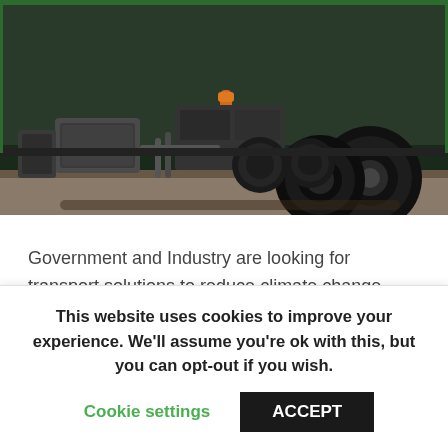[Figure (photo): Close-up photo of the undercarriage and rear wheels of a dark green heavy truck or semi-trailer, showing mechanical components, cylinders, and large black tires on a road surface.]
Government and Industry are looking for transport solutions to reduce climate change. Although electric and hydrogen vehicles are considered the primary f…
This website uses cookies to improve your experience. We'll assume you're ok with this, but you can opt-out if you wish.
Cookie settings   ACCEPT